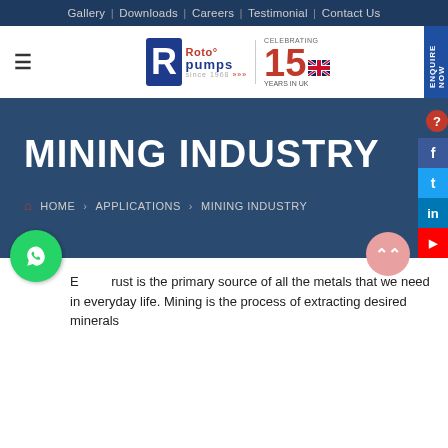Gallery | Downloads | Careers | Testimonial | Contact Us
[Figure (logo): Roto Pumps logo with 'since 1968' tagline and 'Celebrating 15 Years in UK' badge]
MINING INDUSTRY
HOME > APPLICATIONS > MINING INDUSTRY
Earth crust is the primary source of all the metals that we need in everyday life. Mining is the process of extracting desired minerals